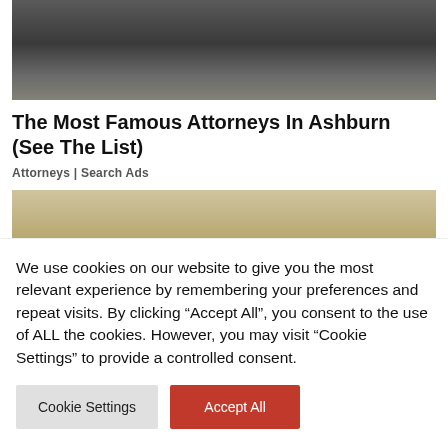[Figure (photo): Group photo of attorneys seated in formal attire, partially cropped at top]
The Most Famous Attorneys In Ashburn (See The List)
Attorneys | Search Ads
[Figure (photo): Interior room photo, partially visible, cropped]
We use cookies on our website to give you the most relevant experience by remembering your preferences and repeat visits. By clicking “Accept All”, you consent to the use of ALL the cookies. However, you may visit “Cookie Settings” to provide a controlled consent.
Cookie Settings
Accept All